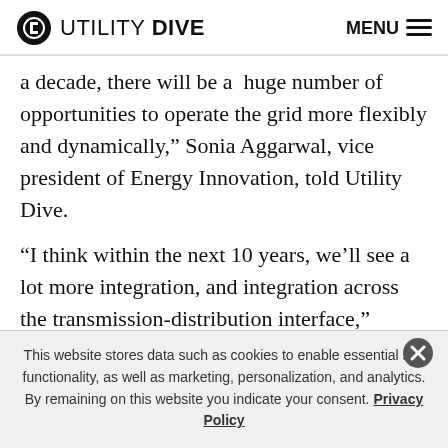UTILITY DIVE   MENU
a decade, there will be a  huge number of opportunities to operate the grid more flexibly and dynamically,” Sonia Aggarwal, vice president of Energy Innovation, told Utility Dive.
“I think within the next 10 years, we’ll see a lot more integration, and integration across the transmission-distribution interface,” Aggarwal said. “All of this dispatching of resources across the grid will result in a
This website stores data such as cookies to enable essential site functionality, as well as marketing, personalization, and analytics. By remaining on this website you indicate your consent. Privacy Policy